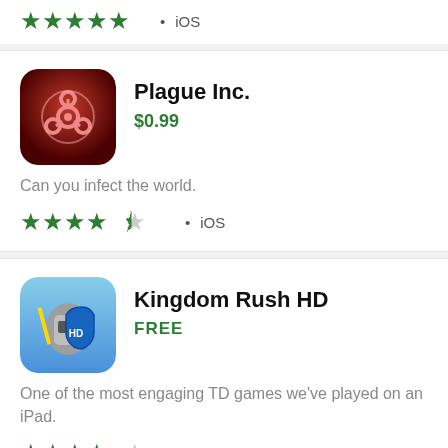[Figure (other): Five green stars rating with iOS label at top of page (partial, clipped)]
[Figure (other): Plague Inc. app icon - red biohazard symbol on dark background]
Plague Inc.
$0.99
Can you infect the world.
[Figure (other): 4.5 out of 5 green stars rating]
• iOS
[Figure (other): Kingdom Rush HD app icon - armored knight with sword and shield]
Kingdom Rush HD
FREE
One of the most engaging TD games we've played on an iPad.
[Figure (other): 4 out of 5 green stars rating]
• iOS